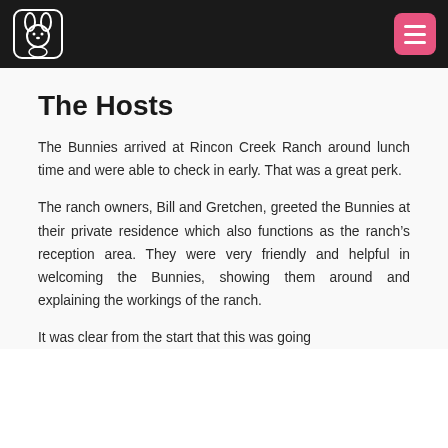[Navigation bar with bunny logo and menu button]
The Hosts
The Bunnies arrived at Rincon Creek Ranch around lunch time and were able to check in early. That was a great perk.
The ranch owners, Bill and Gretchen, greeted the Bunnies at their private residence which also functions as the ranch’s reception area. They were very friendly and helpful in welcoming the Bunnies, showing them around and explaining the workings of the ranch.
It was clear from the start that this was going